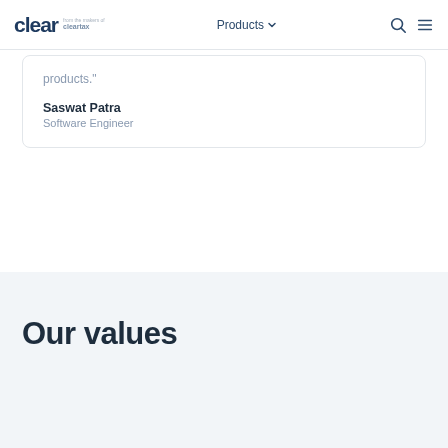clear from the makers of cleartax | Products | Search | Menu
products."
Saswat Patra
Software Engineer
Our values